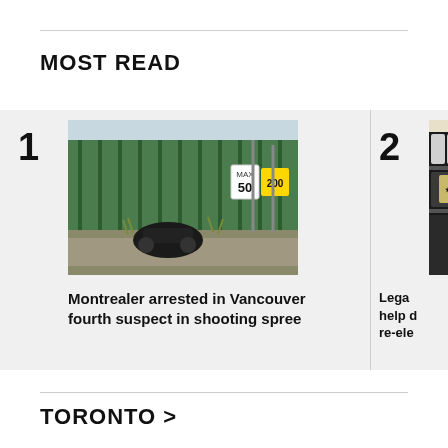MOST READ
[Figure (photo): Photo of a motorcycle wreck on a roadside near green fencing, with yellow caution signs showing speed limit 50 and distance 200.]
Montrealer arrested in Vancouver fourth suspect in shooting spree
[Figure (photo): Partial image of a store shelf with products, a hand visible.]
Lega help d re-ele
TORONTO >